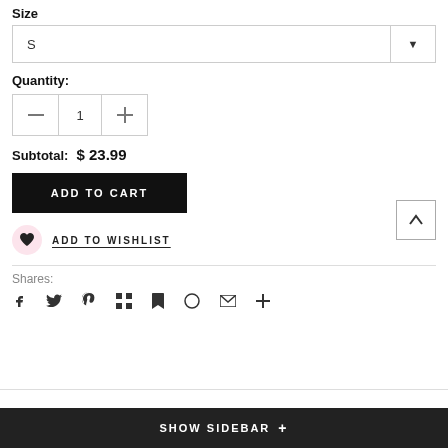Size
S
Quantity:
Subtotal:  $ 23.99
ADD TO CART
ADD TO WISHLIST
Shares:
SHOW SIDEBAR +